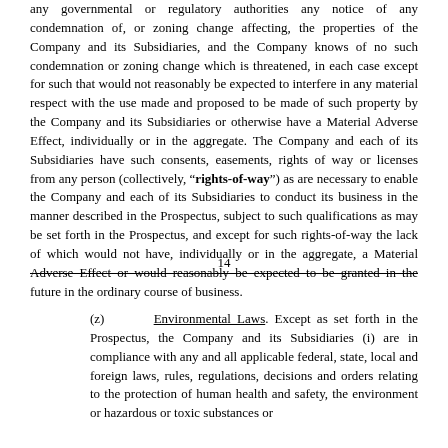any governmental or regulatory authorities any notice of any condemnation of, or zoning change affecting, the properties of the Company and its Subsidiaries, and the Company knows of no such condemnation or zoning change which is threatened, in each case except for such that would not reasonably be expected to interfere in any material respect with the use made and proposed to be made of such property by the Company and its Subsidiaries or otherwise have a Material Adverse Effect, individually or in the aggregate. The Company and each of its Subsidiaries have such consents, easements, rights of way or licenses from any person (collectively, "rights-of-way") as are necessary to enable the Company and each of its Subsidiaries to conduct its business in the manner described in the Prospectus, subject to such qualifications as may be set forth in the Prospectus, and except for such rights-of-way the lack of which would not have, individually or in the aggregate, a Material Adverse Effect or would reasonably be expected to be granted in the future in the ordinary course of business.
14
(z) Environmental Laws. Except as set forth in the Prospectus, the Company and its Subsidiaries (i) are in compliance with any and all applicable federal, state, local and foreign laws, rules, regulations, decisions and orders relating to the protection of human health and safety, the environment or hazardous or toxic substances or